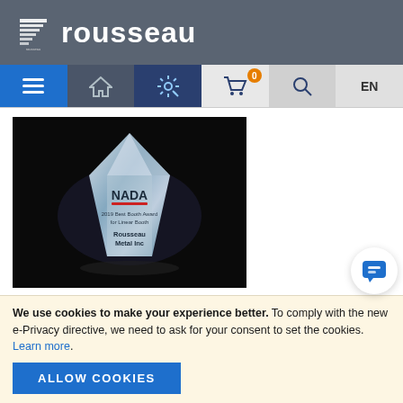[Figure (logo): Rousseau logo with stylized icon and wordmark 'rousseau' on dark grey header background]
[Figure (screenshot): Navigation bar with menu (hamburger), home, settings/gear, shopping cart with badge '0', search, and EN language selector icons]
[Figure (photo): NADA award trophy on black background — a crystal/glass diamond-shaped award labeled 'NADA', '2019 Best Booth Award for Linear Booth', 'Rousseau Metal Inc']
NADA 2019: BEST BOOTH AWARDS
We use cookies to make your experience better. To comply with the new e-Privacy directive, we need to ask for your consent to set the cookies. Learn more.
ALLOW COOKIES